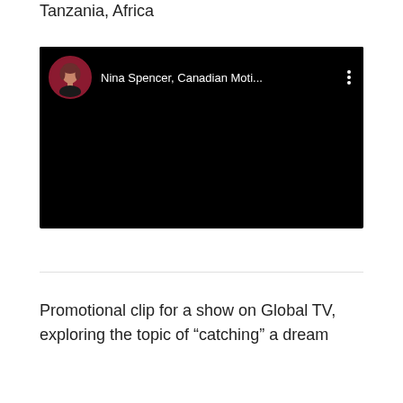Tanzania, Africa
[Figure (screenshot): Embedded video player (black screen) showing a YouTube-style video embed with a circular avatar photo of a woman with red/auburn hair on a dark red background, channel name 'Nina Spencer, Canadian Moti...' and a three-dot menu icon on the right.]
Promotional clip for a show on Global TV, exploring the topic of “catching” a dream